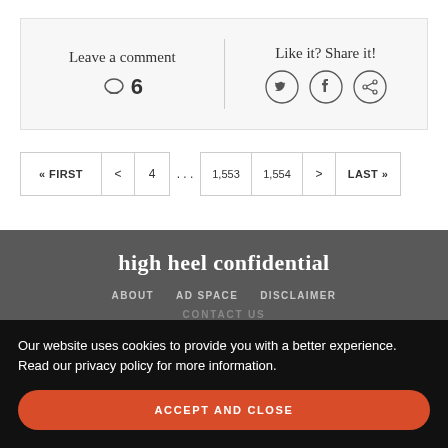Leave a comment
6 comments
Like it? Share it!
« FIRST  <  4  ...  1,553  1,554  >  LAST »
high heel confidential
ABOUT   AD SPACE   DISCLAIMER
CONTACT US
Our website uses cookies to provide you with a better experience. Read our privacy policy for more information.
ACCEPT AND CLOSE